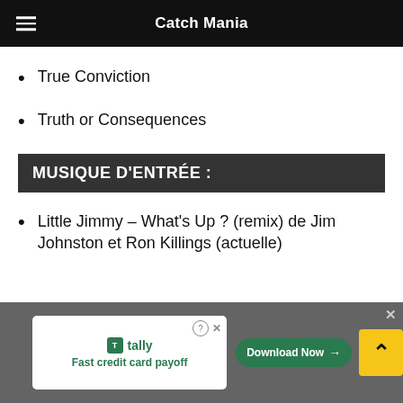Catch Mania
True Conviction
Truth or Consequences
MUSIQUE D'ENTRÉE :
Little Jimmy – What's Up ? (remix) de Jim Johnston et Ron Killings (actuelle)
[Figure (screenshot): Advertisement banner for Tally app – Fast credit card payoff, with Download Now button and scroll-up arrow button]